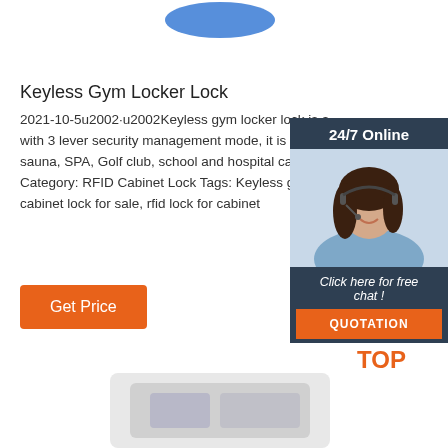[Figure (photo): Blue padlock or object partially visible at top center of page]
Keyless Gym Locker Lock
2021-10-5u2002·u2002Keyless gym locker lock is a... with 3 lever security management mode, it is widely... sauna, SPA, Golf club, school and hospital cabinet. Category: RFID Cabinet Lock Tags: Keyless gym lo... cabinet lock for sale, rfid lock for cabinet
[Figure (photo): Chat widget showing woman with headset, 24/7 Online label, Click here for free chat text, and QUOTATION button]
Get Price
[Figure (other): TOP back-to-top icon with orange dots arranged in triangle and orange TOP text]
[Figure (photo): Partial product image at bottom center]